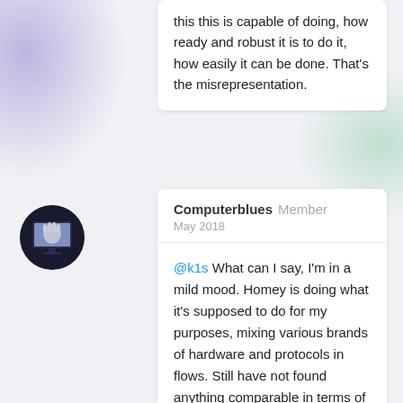this this is capable of doing, how ready and robust it is to do it, how easily it can be done. That's the misrepresentation.
Computerblues Member
May 2018
@k1s What can I say, I'm in a mild mood. Homey is doing what it's supposed to do for my purposes, mixing various brands of hardware and protocols in flows. Still have not found anything comparable in terms of wide support for hardware and ease of use for flows. Working around the shortcomings as needed. The last time Homey stopped working for me was when we had a power outage. However, right now, I would not recommend Homey for any of my customers that expect a set-it-and-forget-it kind of solution, since the interface for everyday operation for users still leaves much to be desired.